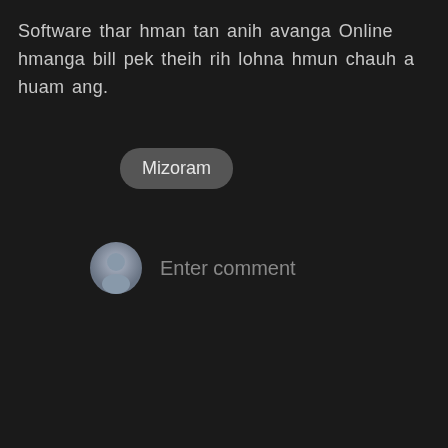Software thar hman tan anih avanga Online hmanga bill pek theih rih lohna hmun chauh a huam ang.
Mizoram
Enter comment